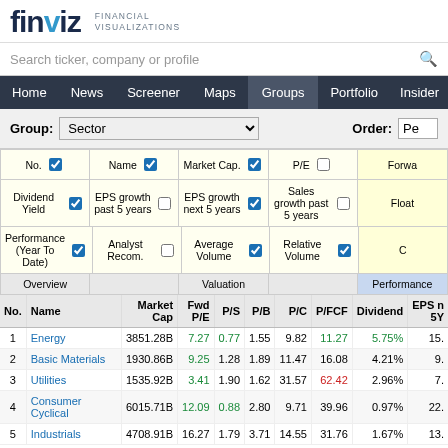finviz · FINANCIAL VISUALIZATIONS
Search ticker, company or profile
Home | News | Screener | Maps | Groups | Portfolio | Insider | Futures
Group: Sector   Order: Pe
| No. | Name | Market Cap | Fwd P/E | P/S | P/B | P/C | P/FCF | Dividend | EPS 5Y |
| --- | --- | --- | --- | --- | --- | --- | --- | --- | --- |
| 1 | Energy | 3851.28B | 7.27 | 0.77 | 1.55 | 9.82 | 11.27 | 5.75% | 15. |
| 2 | Basic Materials | 1930.86B | 9.25 | 1.28 | 1.89 | 11.47 | 16.08 | 4.21% | 9. |
| 3 | Utilities | 1535.92B | 3.41 | 1.90 | 1.62 | 31.57 | 62.42 | 2.96% | 7. |
| 4 | Consumer Cyclical | 6015.71B | 12.09 | 0.88 | 2.80 | 9.71 | 39.96 | 0.97% | 22. |
| 5 | Industrials | 4708.91B | 16.27 | 1.79 | 3.71 | 14.55 | 31.76 | 1.67% | 13. |